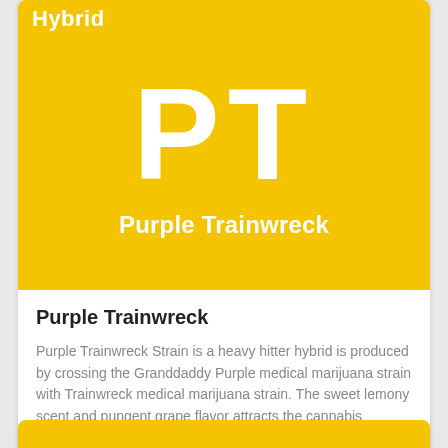[Figure (illustration): Yellow card with white 'Hybrid' label at top-left, large white 'PT' initials in center, and 'Purple Trainwreck' text below on yellow background]
Purple Trainwreck
Purple Trainwreck Strain is a heavy hitter hybrid is produced by crossing the Granddaddy Purple medical marijuana strain with Trainwreck medical marijuana strain. The sweet lemony scent and pungent grape flavor attracts the cannabis connoisseurs...
Read full article